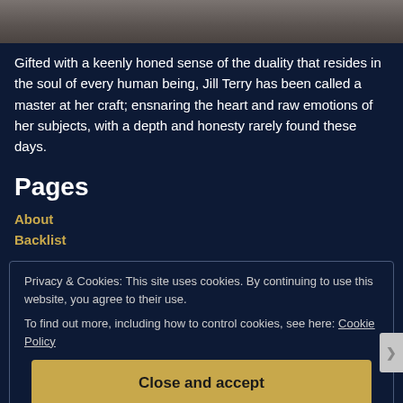[Figure (photo): Dark textured background image at the top of the page, partially cropped.]
Gifted with a keenly honed sense of the duality that resides in the soul of every human being, Jill Terry has been called a master at her craft; ensnaring the heart and raw emotions of her subjects, with a depth and honesty rarely found these days.
Pages
About
Backlist
Privacy & Cookies: This site uses cookies. By continuing to use this website, you agree to their use.
To find out more, including how to control cookies, see here: Cookie Policy
Close and accept